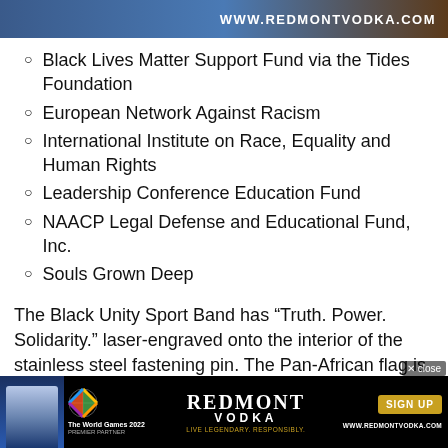[Figure (photo): Top banner advertisement for Redmont Vodka showing WWW.REDMONTVODKA.COM URL on dark background]
Black Lives Matter Support Fund via the Tides Foundation
European Network Against Racism
International Institute on Race, Equality and Human Rights
Leadership Conference Education Fund
NAACP Legal Defense and Educational Fund, Inc.
Souls Grown Deep
The Black Unity Sport Band has “Truth. Power. Solidarity.” laser-engraved onto the interior of the stainless steel fastening pin. The Pan-African flag is a
[Figure (photo): Bottom advertisement banner for Redmont Vodka - The World Games 2022 Premier Partner, with SIGN UP button and WWW.REDMONTVODKA.COM]